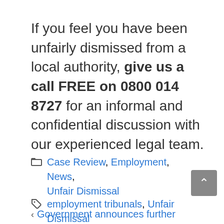If you feel you have been unfairly dismissed from a local authority, give us a call FREE on 0800 014 8727 for an informal and confidential discussion with our experienced legal team.
Case Review, Employment, News, Unfair Dismissal
employment tribunals, Unfair Dismissal
Government announces further